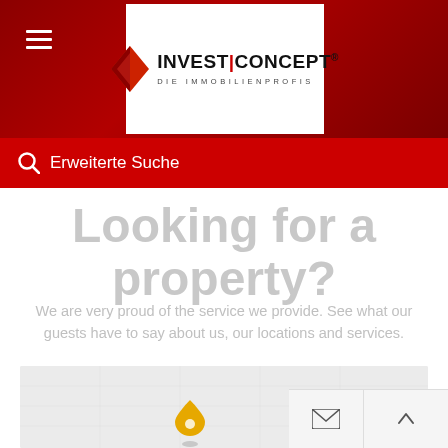[Figure (logo): Invest Concept logo with red diamond shape and text 'INVEST|CONCEPT® DIE IMMOBILIENPROFIS']
Erweiterte Suche
Looking for a property?
We are very proud of the service we provide. See what our guests have to say about us, our locations and services.
[Figure (map): Light gray map area showing a geographic location with a map marker pin]